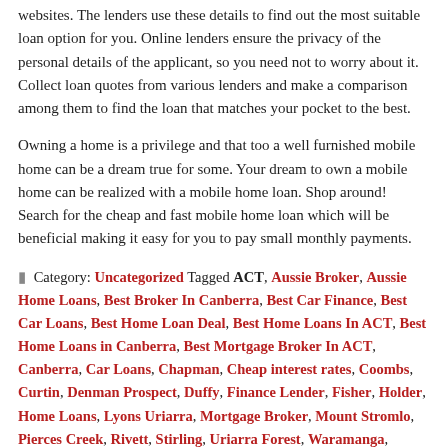websites. The lenders use these details to find out the most suitable loan option for you. Online lenders ensure the privacy of the personal details of the applicant, so you need not to worry about it. Collect loan quotes from various lenders and make a comparison among them to find the loan that matches your pocket to the best.
Owning a home is a privilege and that too a well furnished mobile home can be a dream true for some. Your dream to own a mobile home can be realized with a mobile home loan. Shop around! Search for the cheap and fast mobile home loan which will be beneficial making it easy for you to pay small monthly payments.
Category: Uncategorized Tagged ACT, Aussie Broker, Aussie Home Loans, Best Broker In Canberra, Best Car Finance, Best Car Loans, Best Home Loan Deal, Best Home Loans In ACT, Best Home Loans in Canberra, Best Mortgage Broker In ACT, Canberra, Car Loans, Chapman, Cheap interest rates, Coombs, Curtin, Denman Prospect, Duffy, Finance Lender, Fisher, Holder, Home Loans, Lyons Uriarra, Mortgage Broker, Mount Stromlo, Pierces Creek, Rivett, Stirling, Uriarra Forest, Waramanga, Weston, Weston Creek, Wright  Leave a comment/
Search ...
Recent Posts
Pemasaran Afiliasi Kasino Online: Membuat Kasino Bekerja Untuk